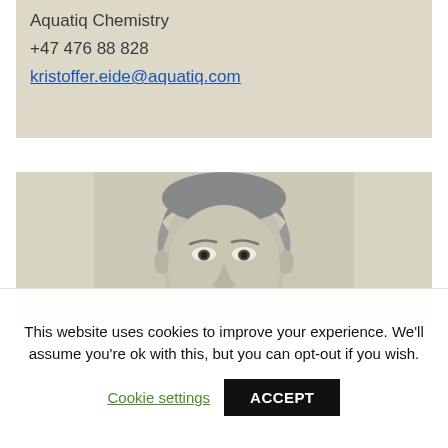Aquatiq Chemistry
+47 476 88 828
kristoffer.eide@aquatiq.com
[Figure (photo): Black and white portrait photo of a man with light hair, cropped at forehead and nose level]
This website uses cookies to improve your experience. We'll assume you're ok with this, but you can opt-out if you wish.
Cookie settings
ACCEPT